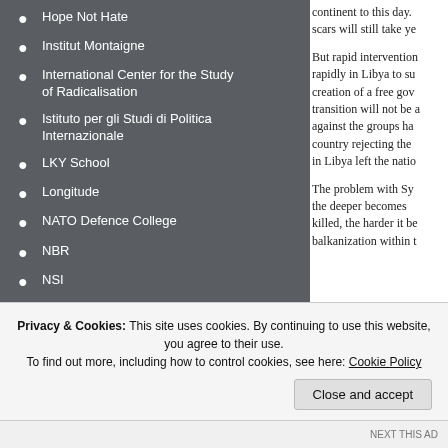Hope Not Hate
Institut Montaigne
International Center for the Study of Radicalisation
Istituto per gli Studi di Politica Internazionale
LKY School
Longitude
NATO Defence College
NBR
NSI
Observer Research Foundation
Oxus Society
Pool Re
Presentations
Royal United Services Institute
continent to this day. scars will still take ye
But rapid intervention rapidly in Libya to su creation of a free gov transition will not be a against the groups ha country rejecting the in Libya left the natio
The problem with Sy the deeper becomes killed, the harder it be balkanization within t
Privacy & Cookies: This site uses cookies. By continuing to use this website, you agree to their use. To find out more, including how to control cookies, see here: Cookie Policy
Close and accept